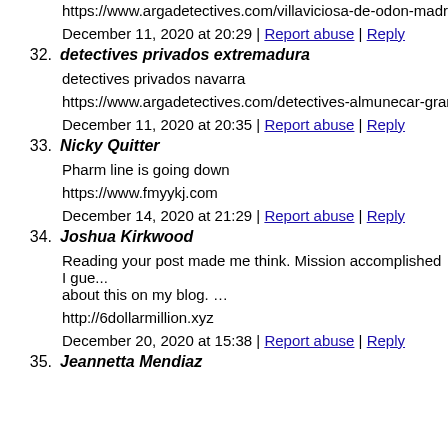https://www.argadetectives.com/villaviciosa-de-odon-madrid...
December 11, 2020 at 20:29 | Report abuse | Reply
32. detectives privados extremadura
detectives privados navarra
https://www.argadetectives.com/detectives-almunecar-granada...
December 11, 2020 at 20:35 | Report abuse | Reply
33. Nicky Quitter
Pharm line is going down
https://www.fmyykj.com
December 14, 2020 at 21:29 | Report abuse | Reply
34. Joshua Kirkwood
Reading your post made me think. Mission accomplished I gue... about this on my blog. …
http://6dollarmillion.xyz
December 20, 2020 at 15:38 | Report abuse | Reply
35. Jeannetta Mendiaz